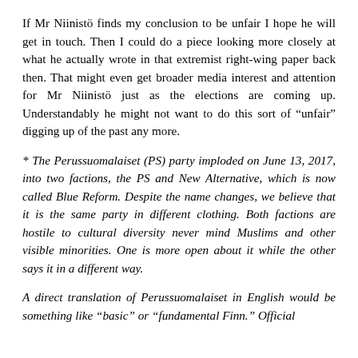If Mr Niinistö finds my conclusion to be unfair I hope he will get in touch. Then I could do a piece looking more closely at what he actually wrote in that extremist right-wing paper back then. That might even get broader media interest and attention for Mr Niinistö just as the elections are coming up. Understandably he might not want to do this sort of “unfair” digging up of the past any more.
* The Perussuomalaiset (PS) party imploded on June 13, 2017, into two factions, the PS and New Alternative, which is now called Blue Reform. Despite the name changes, we believe that it is the same party in different clothing. Both factions are hostile to cultural diversity never mind Muslims and other visible minorities. One is more open about it while the other says it in a different way.
A direct translation of Perussuomalaiset in English would be something like “basic” or “fundamental Finn.” Official